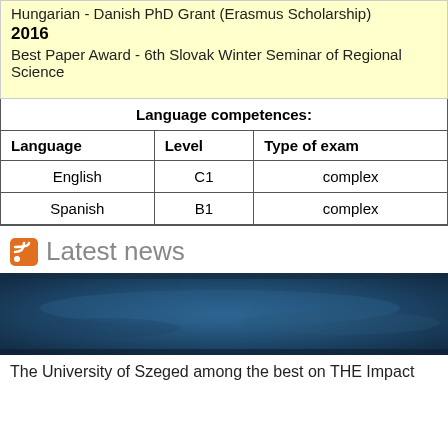Hungarian - Danish PhD Grant (Erasmus Scholarship)
2016
Best Paper Award - 6th Slovak Winter Seminar of Regional Science
| Language competences: |
| --- |
| Language | Level | Type of exam |
| --- | --- | --- |
| English | C1 | complex |
| Spanish | B1 | complex |
Latest news
[Figure (photo): Dark blue background image, likely a satellite or aerial view]
The University of Szeged among the best on THE Impact